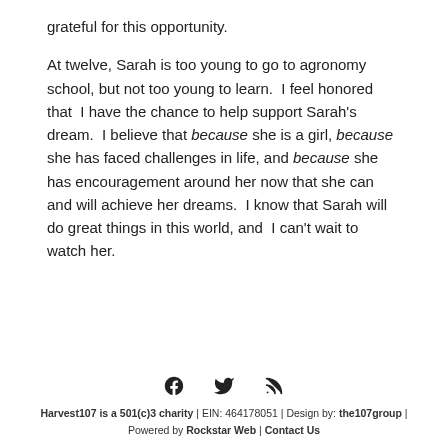grateful for this opportunity.
At twelve, Sarah is too young to go to agronomy school, but not too young to learn.  I feel honored that  I have the chance to help support Sarah's dream.  I believe that because she is a girl, because she has faced challenges in life, and because she has encouragement around her now that she can and will achieve her dreams.  I know that Sarah will do great things in this world, and  I can't wait to watch her.
[Figure (other): Social media icons: Facebook, Twitter, RSS feed]
Harvest107 is a 501(c)3 charity | EIN: 464178051 | Design by: the107group | Powered by Rockstar Web | Contact Us